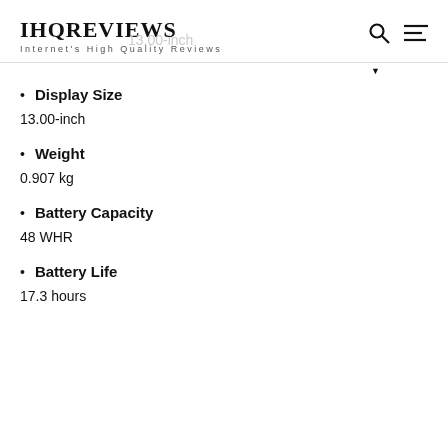IHQREVIEWS
Internet's High Quality Reviews
Display Size
13.00-inch
Weight
0.907 kg
Battery Capacity
48 WHR
Battery Life
17.3 hours